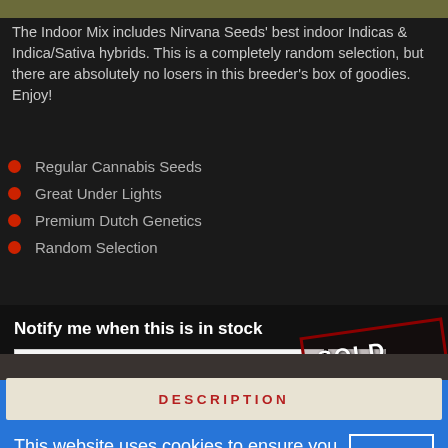The Indoor Mix includes Nirvana Seeds' best indoor Indicas & Indica/Sativa hybrids. This is a completely random selection, but there are absolutely no losers in this breeder's box of goodies. Enjoy!
Regular Cannabis Seeds
Great Under Lights
Premium Dutch Genetics
Random Selection
Notify me when this is in stock
[Figure (other): SOLD OUT stamp badge with red border, rotated slightly]
DESCRIPTION
This website uses cookies to ensure you get the best experience on our website.  Learn more